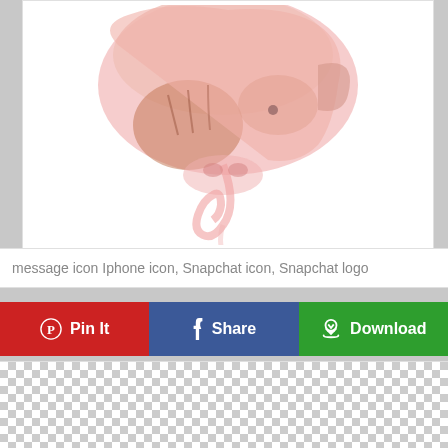[Figure (illustration): Watercolor painting of a pink pig with brown details on a white background]
message icon Iphone icon, Snapchat icon, Snapchat logo
Pin It | Share | Download
[Figure (other): Transparent checkerboard pattern preview area]